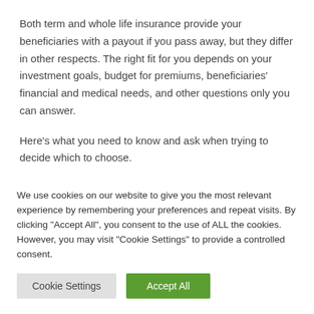Both term and whole life insurance provide your beneficiaries with a payout if you pass away, but they differ in other respects. The right fit for you depends on your investment goals, budget for premiums, beneficiaries' financial and medical needs, and other questions only you can answer.
Here's what you need to know and ask when trying to decide which to choose.
We use cookies on our website to give you the most relevant experience by remembering your preferences and repeat visits. By clicking "Accept All", you consent to the use of ALL the cookies. However, you may visit "Cookie Settings" to provide a controlled consent.